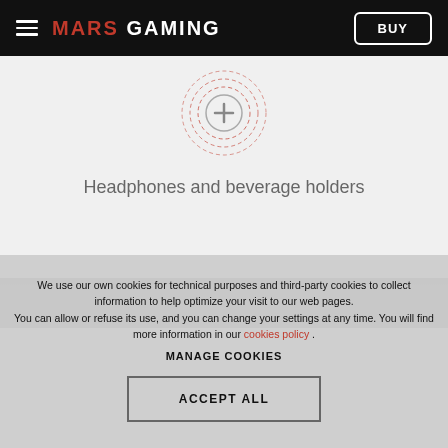MARS GAMING | BUY
[Figure (illustration): Circular crosshair icon with a plus sign in the center, drawn with red/pink dashed concentric rings on a light gray background]
Headphones and beverage holders
We use our own cookies for technical purposes and third-party cookies to collect information to help optimize your visit to our web pages. You can allow or refuse its use, and you can change your settings at any time. You will find more information in our cookies policy .
MANAGE COOKIES
ACCEPT ALL